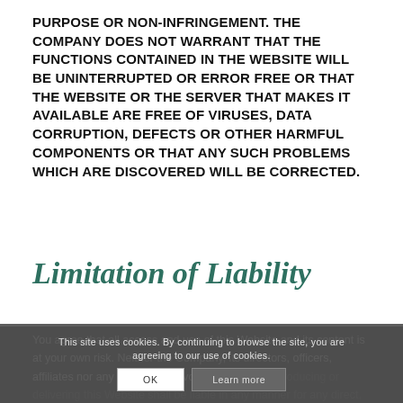PURPOSE OR NON-INFRINGEMENT. THE COMPANY DOES NOT WARRANT THAT THE FUNCTIONS CONTAINED IN THE WEBSITE WILL BE UNINTERRUPTED OR ERROR FREE OR THAT THE WEBSITE OR THE SERVER THAT MAKES IT AVAILABLE ARE FREE OF VIRUSES, DATA CORRUPTION, DEFECTS OR OTHER HARMFUL COMPONENTS OR THAT ANY SUCH PROBLEMS WHICH ARE DISCOVERED WILL BE CORRECTED.
Limitation of Liability
You agree that all access and use of this Website and its content is at your own risk. Neither the Company, its directors, officers, affiliates nor any other party involved in creating, producing or delivering this Website shall be liable in any manner for any direct,
This site uses cookies. By continuing to browse the site, you are agreeing to our use of cookies.